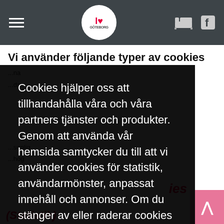Navigation bar with hamburger menu, I Love Göteborg logo, bed icon and Facebook icon
Vi använder följande typer av cookies
[Figure (screenshot): Cookie consent overlay modal with black background containing Swedish text about cookies and a yellow OK button]
Cookies hjälper oss att tillhandahålla våra och våra partners tjänster och produkter. Genom att använda vår hemsida samtycker du till att vi använder cookies för statistik, användarmönster, anpassat innehåll och annonser. Om du stänger av eller raderar cookies i din webbläsare kan delar av vår hemsida sluta fungera. Genom att fortsätta använda vår webbplats godkänner du vår sekretesspolicy.  Läs mer
OK! Jag förstår.
(Statistik)